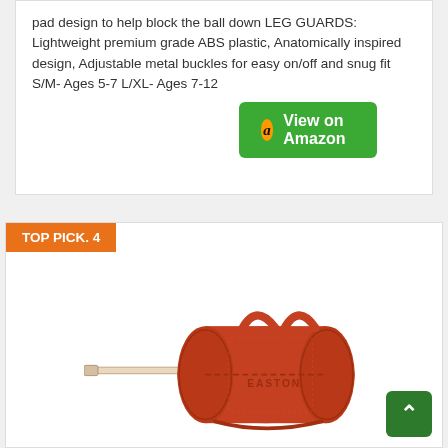pad design to help block the ball down LEG GUARDS: Lightweight premium grade ABS plastic, Anatomically inspired design, Adjustable metal buckles for easy on/off and snug fit S/M- Ages 5-7 L/XL- Ages 7-12
[Figure (other): Green 'View on Amazon' button with Amazon logo icon]
TOP PICK. 4
[Figure (photo): Orange/red Easton baseball bat bag (duffel style) with bat sticking out, on white background]